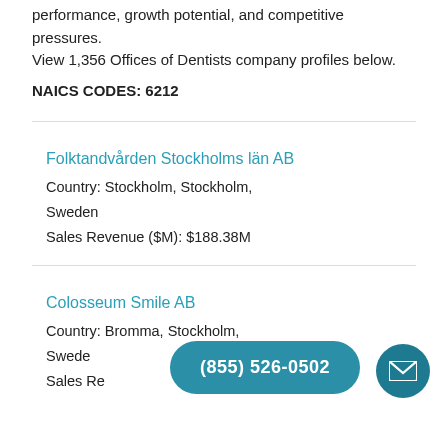performance, growth potential, and competitive pressures. View 1,356 Offices of Dentists company profiles below.
NAICS CODES: 6212
Folktandvården Stockholms län AB
Country: Stockholm, Stockholm, Sweden
Sales Revenue ($M): $188.38M
Colosseum Smile AB
Country: Bromma, Stockholm, Sweden
Sales Re...